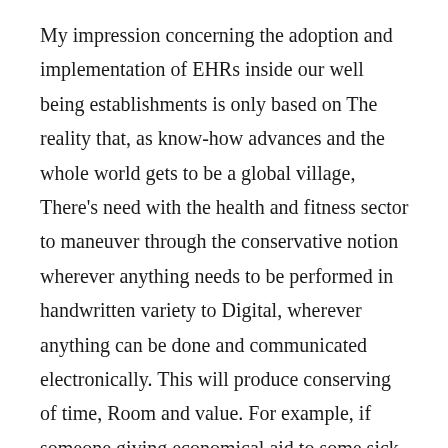My impression concerning the adoption and implementation of EHRs inside our well being establishments is only based on The reality that, as know-how advances and the whole world gets to be a global village, There's need with the health and fitness sector to maneuver through the conservative notion wherever anything needs to be performed in handwritten variety to Digital, wherever anything can be done and communicated electronically. This will produce conserving of time, Room and value. For example, if someone giving economical aid to some sick loved one is much through the hospital where by the patient is currently being attended to, he or she can connect directly with the doctor as a result of e-mails within the condition and progress with the patient, and also what has to be purchased without the